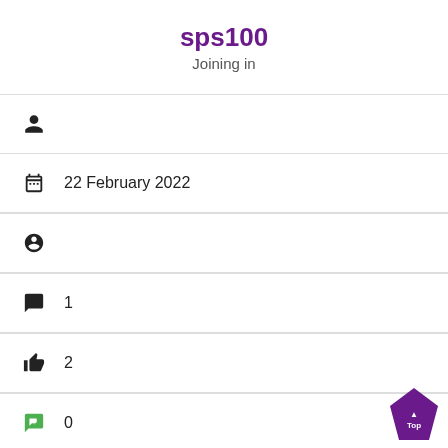sps100
Joining in
[user icon] (no value)
[calendar icon] 22 February 2022
[globe/heart icon] (no value)
[comment icon] 1
[thumbs up icon] 2
[green check comment icon] 0
Badges